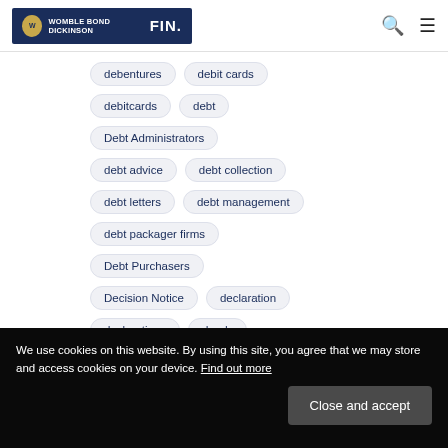WOMBLE BOND DICKINSON | FIN.
debentures
debit cards
debitcards
debt
Debt Administrators
debt advice
debt collection
debt letters
debt management
debt packager firms
Debt Purchasers
Decision Notice
declaration
declarations
deeds
defence
deferral;
deferral
We use cookies on this website. By using this site, you agree that we may store and access cookies on your device. Find out more
Close and accept